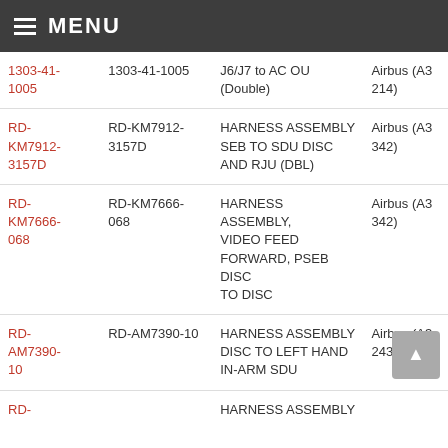MENU
| Part Link | Part Number | Description | Aircraft |
| --- | --- | --- | --- |
| 1303-41-1005 | 1303-41-1005 | J6/J7 to AC OU (Double) | Airbus (A3 214) |
| RD-KM7912-3157D | RD-KM7912-3157D | HARNESS ASSEMBLY SEB TO SDU DISC AND RJU (DBL) | Airbus (A3 342) |
| RD-KM7666-068 | RD-KM7666-068 | HARNESS ASSEMBLY, VIDEO FEED FORWARD, PSEB DISC TO DISC | Airbus (A3 342) |
| RD-AM7390-10 | RD-AM7390-10 | HARNESS ASSEMBLY DISC TO LEFT HAND IN-ARM SDU | Airbus (A3 243) |
| RD- |  | HARNESS ASSEMBLY |  |